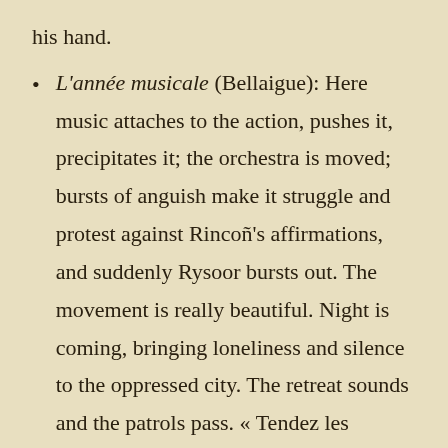his hand.
L'année musicale (Bellaigue): Here music attaches to the action, pushes it, precipitates it; the orchestra is moved; bursts of anguish make it struggle and protest against Rincoñ's affirmations, and suddenly Rysoor bursts out.  The movement is really beautiful.  Night is coming, bringing loneliness and silence to the oppressed city.  The retreat sounds and the patrols pass.  « Tendez les chaînes ! » cry sentinels in the distance.  Rysoor is always there, mourning his honour and his love, feeling the grip of the horrible truth tightening.  Here it is for the first time, that sincere music of which we spoke earlier, music from the heart which one must love, and whose very cordiality would absolve from